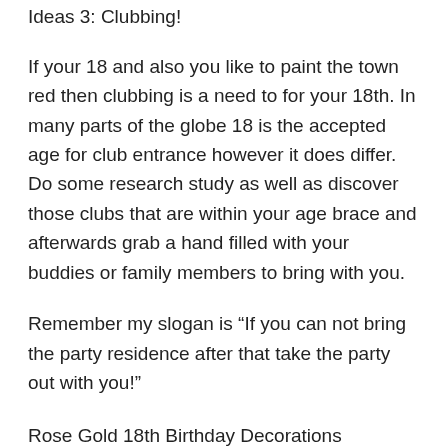Ideas 3: Clubbing!
If your 18 and also you like to paint the town red then clubbing is a need to for your 18th. In many parts of the globe 18 is the accepted age for club entrance however it does differ. Do some research study as well as discover those clubs that are within your age brace and afterwards grab a hand filled with your buddies or family members to bring with you.
Remember my slogan is “If you can not bring the party residence after that take the party out with you!”
Rose Gold 18th Birthday Decorations
Ideas 4: Rent a condominium on the coastline